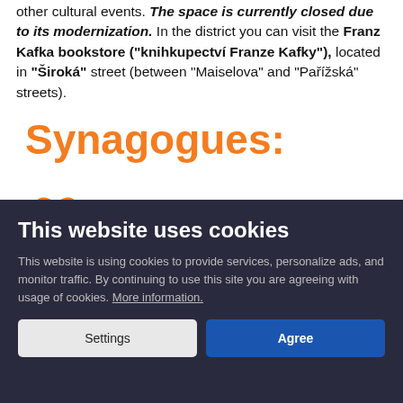other cultural events. The space is currently closed due to its modernization. In the district you can visit the Franz Kafka bookstore ("knihkupectví Franze Kafky"), located in "Široká" street (between "Maiselova" and "Pařížská" streets).
[Figure (illustration): Orange heart resting on a blue hand/charitable hand icon, followed by large orange bold text reading 'Synagogues:']
This website uses cookies
This website is using cookies to provide services, personalize ads, and monitor traffic. By continuing to use this site you are agreeing with usage of cookies. More information.